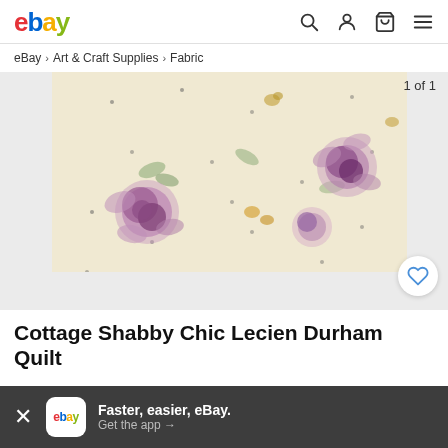[Figure (logo): eBay logo in multicolor letters]
eBay > Art & Craft Supplies > Fabric
[Figure (photo): Floral fabric with pink/purple roses and small dots on a cream/beige background. Image labeled '1 of 1'.]
Cottage Shabby Chic Lecien Durham Quilt
Faster, easier, eBay. Get the app →